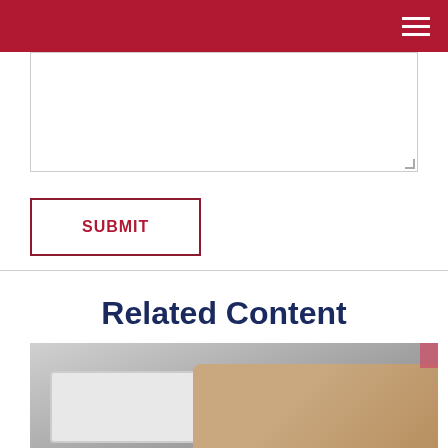Navigation header with hamburger menu
[Figure (other): Text area input box with resize handle in bottom-right corner]
[Figure (other): SUBMIT button with red border and red bold uppercase text on white background]
Related Content
[Figure (photo): Photo of hands using a tablet and laptop keyboard, partially cropped]